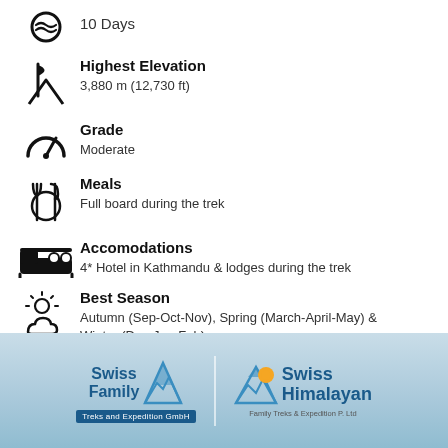10 Days
Highest Elevation
3,880 m (12,730 ft)
Grade
Moderate
Meals
Full board during the trek
Accomodations
4* Hotel in Kathmandu & lodges during the trek
Best Season
Autumn (Sep-Oct-Nov), Spring (March-April-May) & Winter (Dec-Jan-Feb)
Transportation by
Domestic Flight and Private Vehicle
[Figure (logo): Swiss Family Treks and Expedition GmbH and Swiss Himalayan Family Treks & Expedition P. Ltd logos on a light blue banner background]